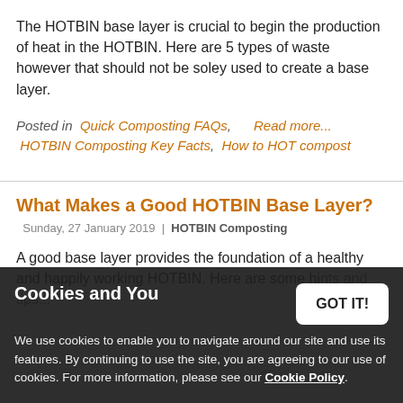The HOTBIN base layer is crucial to begin the production of heat in the HOTBIN. Here are 5 types of waste however that should not be soley used to create a base layer.
Posted in  Quick Composting FAQs,      Read more...  HOTBIN Composting Key Facts,  How to HOT compost
What Makes a Good HOTBIN Base Layer?
Sunday, 27 January 2019  |  HOTBIN Composting
A good base layer provides the foundation of a healthy and happily working HOTBIN. Here are some hints and tips...
Cookies and You
We use cookies to enable you to navigate around our site and use its features. By continuing to use the site, you are agreeing to our use of cookies. For more information, please see our Cookie Policy.